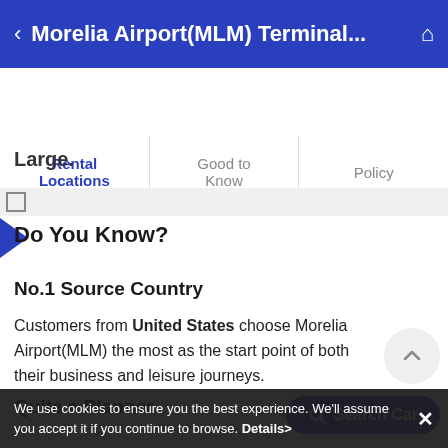Morelia Airport(MLM) Terminal...
Rental Locations | Good to Know | Policy
Large.
Do You Know?
No.1 Source Country
Customers from United States choose Morelia Airport(MLM) the most as the start point of both their business and leisure journeys.
Search Car
Quite a Planner
We use cookies to ensure you the best experience. We'll assume you accept it if you continue to browse. Details>